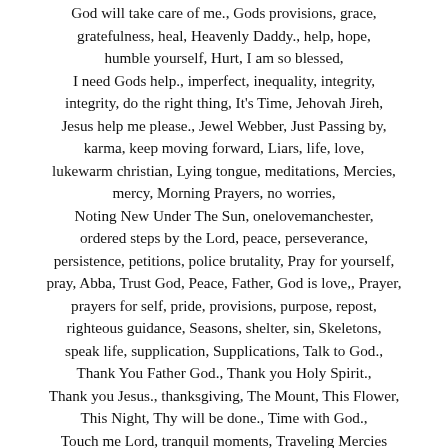God will take care of me., Gods provisions, grace, gratefulness, heal, Heavenly Daddy., help, hope, humble yourself, Hurt, I am so blessed, I need Gods help., imperfect, inequality, integrity, integrity, do the right thing, It's Time, Jehovah Jireh, Jesus help me please., Jewel Webber, Just Passing by, karma, keep moving forward, Liars, life, love, lukewarm christian, Lying tongue, meditations, Mercies, mercy, Morning Prayers, no worries, Noting New Under The Sun, onelovemanchester, ordered steps by the Lord, peace, perseverance, persistence, petitions, police brutality, Pray for yourself, pray, Abba, Trust God, Peace, Father, God is love,, Prayer, prayers for self, pride, provisions, purpose, repost, righteous guidance, Seasons, shelter, sin, Skeletons, speak life, supplication, Supplications, Talk to God., Thank You Father God., Thank you Holy Spirit., Thank you Jesus., thanksgiving, The Mount, This Flower, This Night, Thy will be done., Time with God., Touch me Lord, tranquil moments, Traveling Mercies